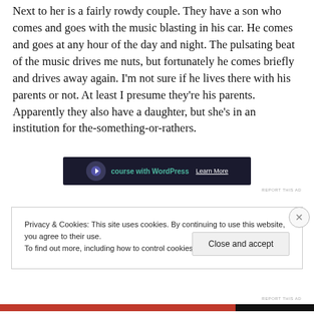Next to her is a fairly rowdy couple. They have a son who comes and goes with the music blasting in his car. He comes and goes at any hour of the day and night. The pulsating beat of the music drives me nuts, but fortunately he comes briefly and drives away again. I'm not sure if he lives there with his parents or not. At least I presume they're his parents. Apparently they also have a daughter, but she's in an institution for the-something-or-rathers.
[Figure (screenshot): Dark advertisement banner for a WordPress course with text 'course with WordPress' and 'Learn More' link in teal/white on dark background]
REPORT THIS AD
Privacy & Cookies: This site uses cookies. By continuing to use this website, you agree to their use.
To find out more, including how to control cookies, see here: Cookie Policy
Close and accept